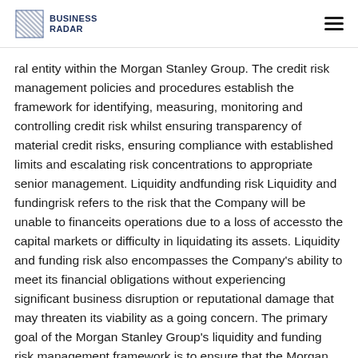BUSINESS RADAR
al entity within the Morgan Stanley Group. The credit risk management policies and procedures establish the framework for identifying, measuring, monitoring and controlling credit risk whilst ensuring transparency of material credit risks, ensuring compliance with established limits and escalating risk concentrations to appropriate senior management. Liquidity and funding risk Liquidity and funding risk refers to the risk that the Company will be unable to finance its operations due to a loss of access to the capital markets or difficulty in liquidating its assets. Liquidity and funding risk also encompasses the Company's ability to meet its financial obligations without experiencing significant business disruption or reputational damage that may threaten its viability as a going concern. The primary goal of the Morgan Stanley Group's liquidity and funding risk management framework is to ensure that the Morgan Stanley Group, including the Company, have access to adequate funding across a wide range of market conditions. The framework is designed to enable the Morgan Stanley Group to fulfil its financial obligations ar